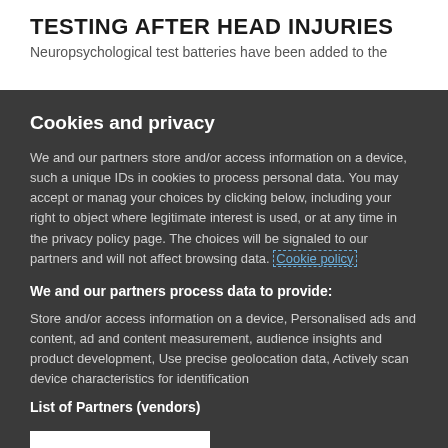TESTING AFTER HEAD INJURIES
Neuropsychological test batteries have been added to the
Cookies and privacy
We and our partners store and/or access information on a device, such as unique IDs in cookies to process personal data. You may accept or manage your choices by clicking below, including your right to object where legitimate interest is used, or at any time in the privacy policy page. These choices will be signaled to our partners and will not affect browsing data. Cookie policy
We and our partners process data to provide:
Store and/or access information on a device, Personalised ads and content, ad and content measurement, audience insights and product development, Use precise geolocation data, Actively scan device characteristics for identification
List of Partners (vendors)
I Accept